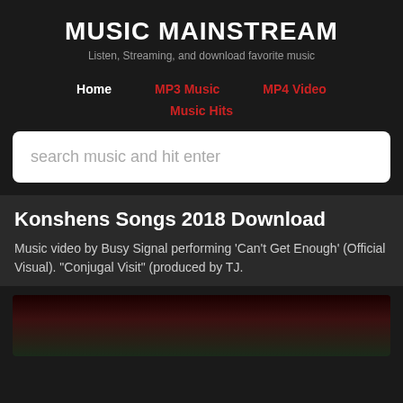MUSIC MAINSTREAM
Listen, Streaming, and download favorite music
Home
MP3 Music
MP4 Video
Music Hits
search music and hit enter
Konshens Songs 2018 Download
Music video by Busy Signal performing 'Can't Get Enough' (Official Visual). "Conjugal Visit" (produced by TJ.
[Figure (photo): Thumbnail image of a music video, dark background with reddish and greenish tones visible]